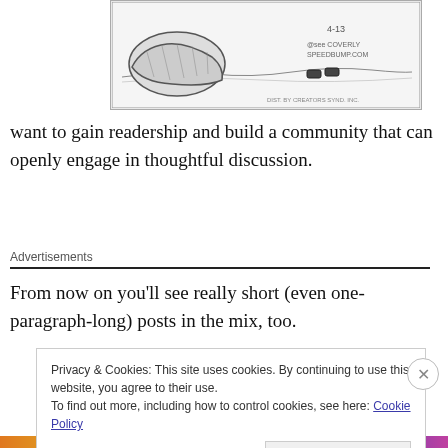[Figure (illustration): A black and white cartoon/comic strip sketch showing a figure, with text '4-13', '@see COVERLY', 'SPEEDBUMP.COM', 'DIST. BY CREATORS SYND. INC.']
want to gain readership and build a community that can openly engage in thoughtful discussion.
Advertisements
From now on you'll see really short (even one-paragraph-long) posts in the mix, too.
Privacy & Cookies: This site uses cookies. By continuing to use this website, you agree to their use.
To find out more, including how to control cookies, see here: Cookie Policy
Close and accept